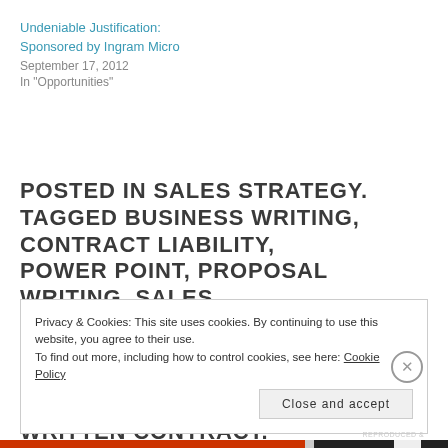Undeniable Justification:
Sponsored by Ingram Micro
September 17, 2012
In "Opportunities"
POSTED IN SALES STRATEGY.
TAGGED BUSINESS WRITING, CONTRACT LIABILITY, POWER POINT, PROPOSAL WRITING, SALES PROPOSALS, SALES TRAINING, SIGNED CONTRACT, TERMS AND CONDITIONS, VERBAL AGREEMENT, WRITTEN CONTRACT.
Privacy & Cookies: This site uses cookies. By continuing to use this website, you agree to their use.
To find out more, including how to control cookies, see here: Cookie Policy
Close and accept